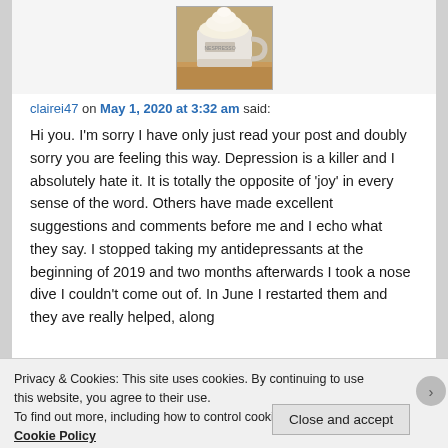[Figure (photo): Avatar/profile image of a coffee cup with whipped cream on top, set on a wooden surface.]
clairei47 on May 1, 2020 at 3:32 am said:
Hi you. I'm sorry I have only just read your post and doubly sorry you are feeling this way. Depression is a killer and I absolutely hate it. It is totally the opposite of ‘joy’ in every sense of the word. Others have made excellent suggestions and comments before me and I echo what they say. I stopped taking my antidepressants at the beginning of 2019 and two months afterwards I took a nose dive I couldn't come out of. In June I restarted them and they ave really helped, along
Privacy & Cookies: This site uses cookies. By continuing to use this website, you agree to their use.
To find out more, including how to control cookies, see here: Cookie Policy
Close and accept